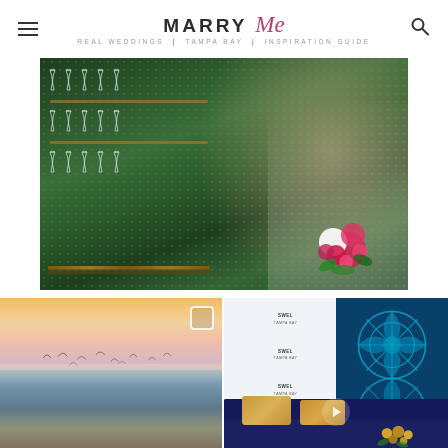MARRY Me Tampa Bay — Real Weddings | Tampa Bay | Inspiration Guide
[Figure (photo): Wedding couple toasting with champagne flutes in front of a green hedge wall lined with champagne glasses on a horizontal rack. The groom wears a dark suit, the bride holds a colorful bouquet with red, white and pink flowers.]
[Figure (photo): Sunset beach scene with birds flying over calm water, pink and golden sky.]
[Figure (photo): Event venue interior: dark navy blue sofa with gold/mustard throw pillows and yellow roses, with a decorative cyan/teal geometric pattern wall behind lit by blue light; SWEL Tampa Bay branded step-and-repeat backdrop visible.]